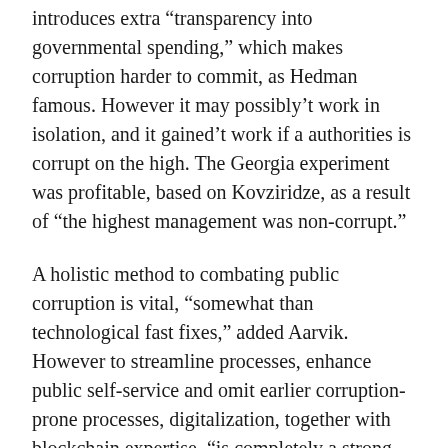introduces extra “transparency into governmental spending,” which makes corruption harder to commit, as Hedman famous. However it may possibly’t work in isolation, and it gained’t work if a authorities is corrupt on the high. The Georgia experiment was profitable, based on Kovziridze, as a result of “the highest management was non-corrupt.”
A holistic method to combating public corruption is vital, “somewhat than technological fast fixes,” added Aarvik. However to streamline processes, enhance public self-service and omit earlier corruption-prone processes, digitalization, together with blockchain expertise, “is completely a strong device,” he advised Cointelegraph.